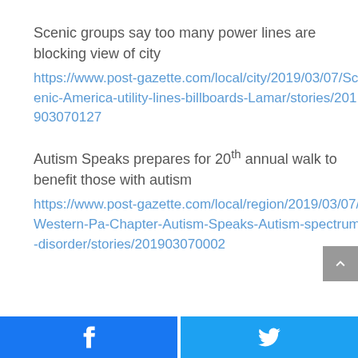Scenic groups say too many power lines are blocking view of city
https://www.post-gazette.com/local/city/2019/03/07/Scenic-America-utility-lines-billboards-Lamar/stories/201903070127
Autism Speaks prepares for 20th annual walk to benefit those with autism
https://www.post-gazette.com/local/region/2019/03/07/Western-Pa-Chapter-Autism-Speaks-Autism-spectrum-disorder/stories/201903070002